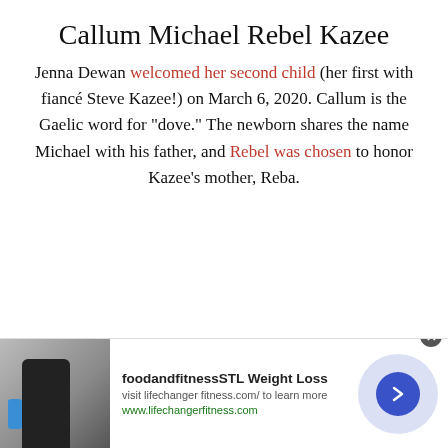Callum Michael Rebel Kazee
Jenna Dewan welcomed her second child (her first with fiancé Steve Kazee!) on March 6, 2020. Callum is the Gaelic word for "dove." The newborn shares the name Michael with his father, and Rebel was chosen to honor Kazee's mother, Reba.
[Figure (infographic): Advertisement banner for foodandfitnessSTL Weight Loss featuring a person holding a water bottle, with text 'visit lifechanger fitness.com/ to learn more' and 'www.lifechangerfitness.com', and a blue arrow button on a light purple circular background.]